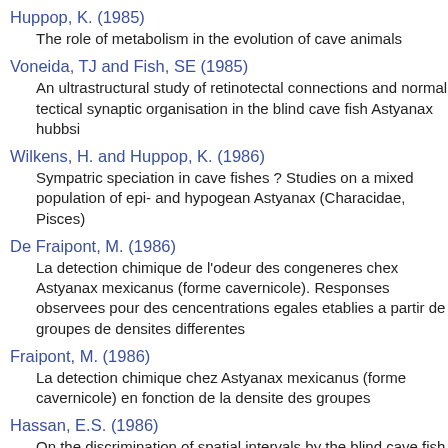Huppop, K. (1985)
The role of metabolism in the evolution of cave animals
Voneida, TJ and Fish, SE (1985)
An ultrastructural study of retinotectal connections and normal tectical synaptic organisation in the blind cave fish Astyanax hubbsi
Wilkens, H. and Huppop, K. (1986)
Sympatric speciation in cave fishes ? Studies on a mixed population of epi- and hypogean Astyanax (Characidae, Pisces)
De Fraipont, M. (1986)
La detection chimique de l'odeur des congeneres chex Astyanax mexicanus (forme cavernicole). Responses observees pour des cencentrations egales etablies a partir de groupes de densites differentes
Fraipont, M. (1986)
La detection chimique chez Astyanax mexicanus (forme cavernicole) en fonction de la densite des groupes
Hassan, E.S. (1986)
On the discrimination of spatial intervals by the blind cave fish Anoptichthys jordani
De Fraipont, M. and Thines, G. (1986)